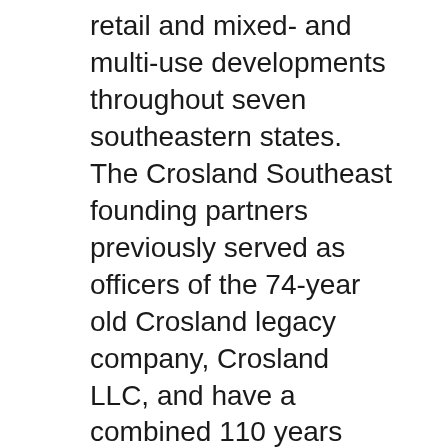retail and mixed- and multi-use developments throughout seven southeastern states. The Crosland Southeast founding partners previously served as officers of the 74-year old Crosland legacy company, Crosland LLC, and have a combined 110 years experience in the shopping center industry. During their tenure at Crosland, they have successfully developed over 10 million square feet of commercial space.
Notable projects include Biltmore Park in Asheville, N.C., Blakeney and Birkdale Village in Charlotte, N.C., Providence Marketplace in Nashville, Tenn., and The Shops at Greenridge in Greenville, S.C. Through their leadership,